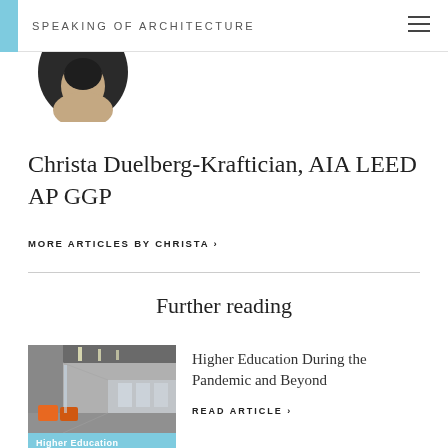SPEAKING OF ARCHITECTURE
[Figure (photo): Circular profile photo of a person with dark hair, cropped to show face and shoulders against dark background]
Christa Duelberg-Kraftician, AIA LEED AP GGP
MORE ARTICLES BY CHRISTA ›
Further reading
[Figure (photo): Interior photo of a higher education building showing a modern corridor with orange seating and architectural lighting]
Higher Education
Higher Education During the Pandemic and Beyond
READ ARTICLE ›